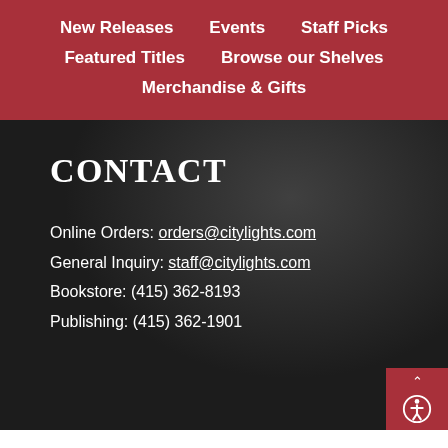New Releases | Events | Staff Picks | Featured Titles | Browse our Shelves | Merchandise & Gifts
CONTACT
Online Orders: orders@citylights.com
General Inquiry: staff@citylights.com
Bookstore: (415) 362-8193
Publishing: (415) 362-1901